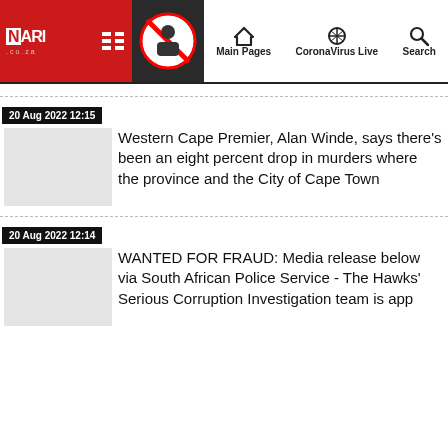NARI.co.za | Main Pages | CoronaVirus Live | Search
20 Aug 2022 12:15
Western Cape Premier, Alan Winde, says there's been an eight percent drop in murders where the province and the City of Cape Town
20 Aug 2022 12:14
WANTED FOR FRAUD: Media release below via South African Police Service - The Hawks' Serious Corruption Investigation team is app